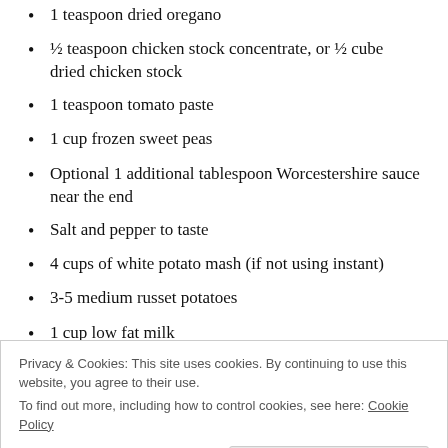1 teaspoon dried oregano
½ teaspoon chicken stock concentrate, or ½ cube dried chicken stock
1 teaspoon tomato paste
1 cup frozen sweet peas
Optional 1 additional tablespoon Worcestershire sauce near the end
Salt and pepper to taste
4 cups of white potato mash (if not using instant)
3-5 medium russet potatoes
1 cup low fat milk
1 tablespoon salted butter
Privacy & Cookies: This site uses cookies. By continuing to use this website, you agree to their use.
To find out more, including how to control cookies, see here: Cookie Policy
The method: